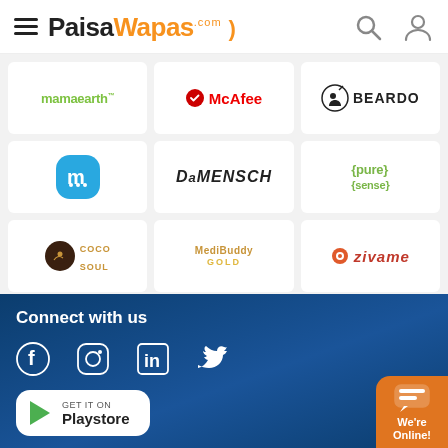PaisaWapas.com — website header with logo, search, and user icons
[Figure (logo): mamaearth logo]
[Figure (logo): McAfee logo]
[Figure (logo): BEARDO logo]
[Figure (logo): Meesho (m) app icon logo]
[Figure (logo): DaMENSCH logo]
[Figure (logo): pure sense logo]
[Figure (logo): Coco Soul logo]
[Figure (logo): MediBuddy Gold logo]
[Figure (logo): Zivame logo]
Connect with us
[Figure (infographic): Social media icons: Facebook, Instagram, LinkedIn, Twitter]
[Figure (infographic): GET IT ON Playstore button]
WhatsApp icon | BUY NOW | We're Online! chat widget